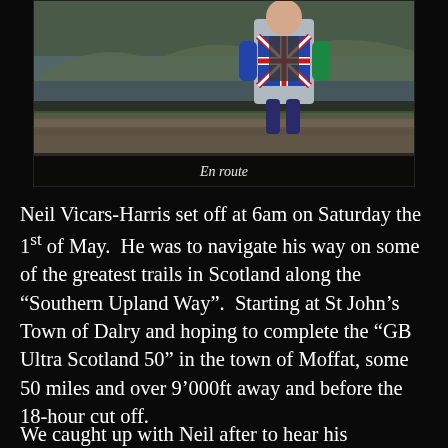[Figure (photo): A runner in a Union Jack themed jacket and hydration vest running along a stone wall path with a Scottish loch and hills in the background. Caption reads 'En route'.]
En route
Neil Vicars-Harris set off at 6am on Saturday the 1st of May. He was to navigate his way on some of the greatest trails in Scotland along the "Southern Upland Way". Starting at St John's Town of Dalry and hoping to complete the "GB Ultra Scotland 50" in the town of Moffat, some 50 miles and over 9'000ft away and before the 18-hour cut off.
We caught up with Neil after to hear his